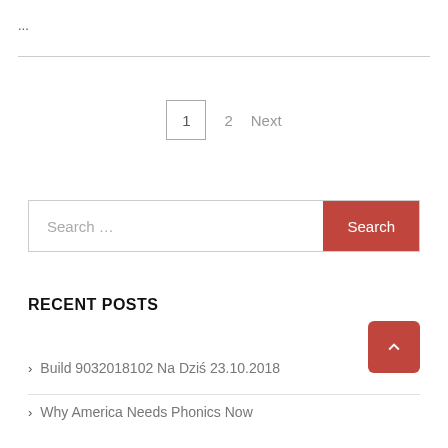...
1  2  Next
Search ...
RECENT POSTS
> Build 9032018102 Na Dziś 23.10.2018
> Why America Needs Phonics Now